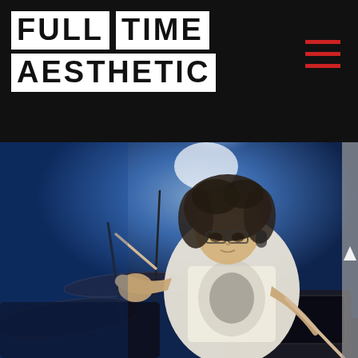FULL TIME AESTHETIC
[Figure (photo): A male drummer with curly dark hair wearing a white graphic t-shirt, playing drums on stage under blue concert lighting. Cymbals are visible and he holds drumsticks. Stage atmosphere with spotlight behind him.]